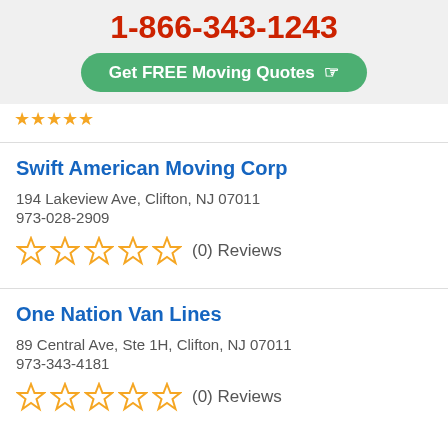1-866-343-1243
Get FREE Moving Quotes
☆☆☆☆☆ (partial stars visible)
Swift American Moving Corp
194 Lakeview Ave, Clifton, NJ 07011
973-028-2909
(0) Reviews
One Nation Van Lines
89 Central Ave, Ste 1H, Clifton, NJ 07011
973-343-4181
(0) Reviews